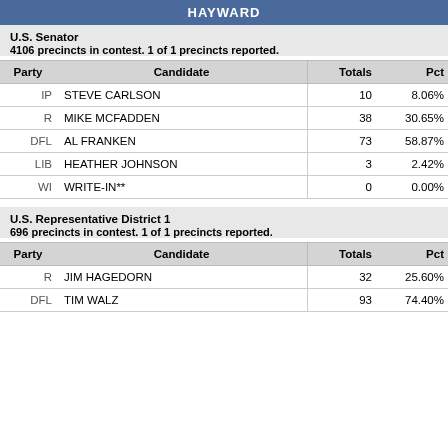HAYWARD
U.S. Senator
4106 precincts in contest. 1 of 1 precincts reported.
| Party | Candidate | Totals | Pct |
| --- | --- | --- | --- |
| IP | STEVE CARLSON | 10 | 8.06% |
| R | MIKE MCFADDEN | 38 | 30.65% |
| DFL | AL FRANKEN | 73 | 58.87% |
| LIB | HEATHER JOHNSON | 3 | 2.42% |
| WI | WRITE-IN** | 0 | 0.00% |
U.S. Representative District 1
696 precincts in contest. 1 of 1 precincts reported.
| Party | Candidate | Totals | Pct |
| --- | --- | --- | --- |
| R | JIM HAGEDORN | 32 | 25.60% |
| DFL | TIM WALZ | 93 | 74.40% |